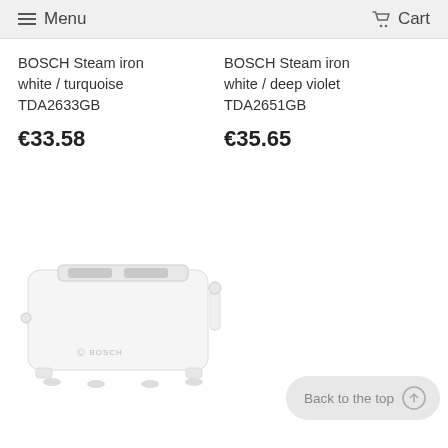Menu  Cart
BOSCH Steam iron white / turquoise TDA2633GB
€33.58
BOSCH Steam iron white / deep violet TDA2651GB
€35.65
[Figure (photo): White Bosch toaster product photo on white background with Bosch logo visible]
Back to the top